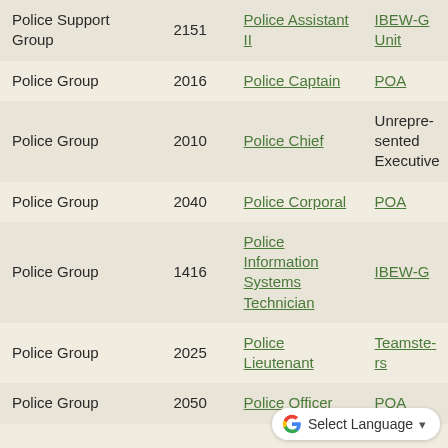| Group | Code | Title | Union |
| --- | --- | --- | --- |
| Police Support Group | 2151 | Police Assistant II | IBEW-G Unit |
| Police Group | 2016 | Police Captain | POA |
| Police Group | 2010 | Police Chief | Unrepresented Executive |
| Police Group | 2040 | Police Corporal | POA |
| Police Group | 1416 | Police Information Systems Technician | IBEW-G |
| Police Group | 2025 | Police Lieutenant | Teamsters |
| Police Group | 2050 | Police Officer | POA |